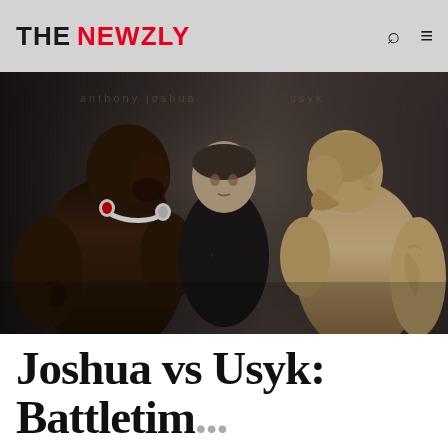THE NEWZLY
[Figure (photo): Two boxers, Anthony Joshua (left, large muscular Black man with Beats headphones around neck and arm tattoos) and Oleksandr Usyk (right, shaved head, tattoos on arm) facing off at a weigh-in, with a man in a black shirt standing between them in the background.]
Joshua vs Usyk: Battletim...